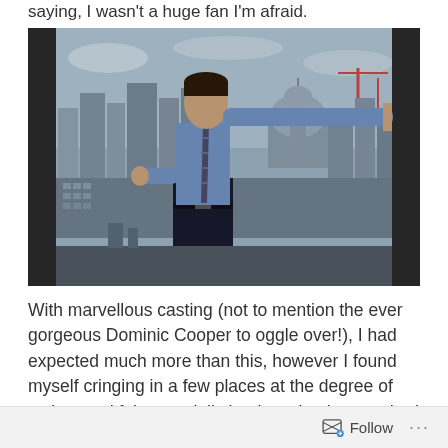saying, I wasn't a huge fan I'm afraid.
[Figure (photo): A man in a blue shirt and dark striped tie stands at an open window or doorway with a panoramic view of the London skyline behind him, including buildings and St Paul's Cathedral dome.]
With marvellous casting (not to mention the ever gorgeous Dominic Cooper to oggle over!), I had expected much more than this, however I found myself cringing in a few places at the degree of acting, and felt especially let down by the standard
Follow ...